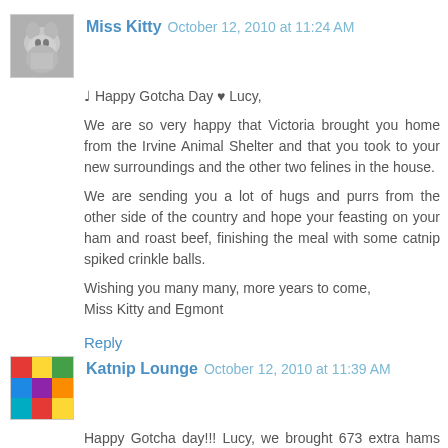[Figure (photo): Small avatar thumbnail of a cat (gray/white), approximately 62x62 pixels]
Miss Kitty  October 12, 2010 at 11:24 AM
♩ Happy Gotcha Day ♥ Lucy,
We are so very happy that Victoria brought you home from the Irvine Animal Shelter and that you took to your new surroundings and the other two felines in the house.
We are sending you a lot of hugs and purrs from the other side of the country and hope your feasting on your ham and roast beef, finishing the meal with some catnip spiked crinkle balls.
Wishing you many many, more years to come,
Miss Kitty and Egmont
Reply
[Figure (photo): Colorful mosaic/collage avatar image, approximately 62x62 pixels]
Katnip Lounge  October 12, 2010 at 11:39 AM
Happy Gotcha day!!! Lucy, we brought 673 extra hams with us to make sure there will be enough for leftovers